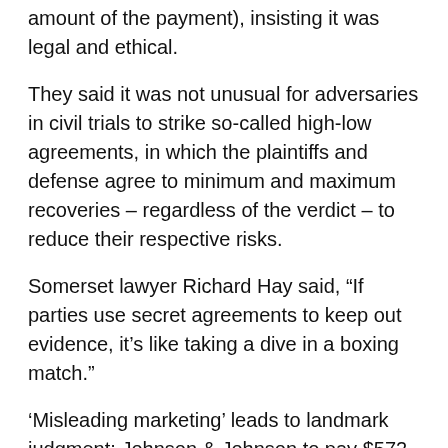amount of the payment), insisting it was legal and ethical.
They said it was not unusual for adversaries in civil trials to strike so-called high-low agreements, in which the plaintiffs and defense agree to minimum and maximum recoveries – regardless of the verdict – to reduce their respective risks.
Somerset lawyer Richard Hay said, “If parties use secret agreements to keep out evidence, it’s like taking a dive in a boxing match.”
‘Misleading marketing’ leads to landmark judgment: Johnson & Johnson to pay $572 million for role in opioid crisis; company says ruling ‘flawed’
Lilly publicly trashed Potter and his investigation and won an order from the Kentucky Court of Appeals blocking it.